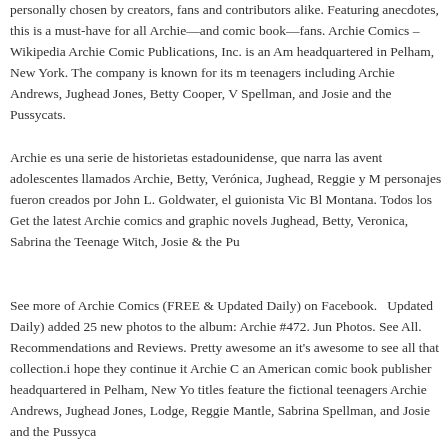personally chosen by creators, fans and contributors alike. Featuring anecdotes, this is a must-have for all Archie—and comic book—fans. Archie Comics – Wikipedia Archie Comic Publications, Inc. is an American headquartered in Pelham, New York. The company is known for its fictional teenagers including Archie Andrews, Jughead Jones, Betty Cooper, Veronica Lodge, Spellman, and Josie and the Pussycats.
Archie es una serie de historietas estadounidense, que narra las aventuras de adolescentes llamados Archie, Betty, Verónica, Jughead, Reggie y M... personajes fueron creados por John L. Goldwater, el guionista Vic Bloom y Bob Montana. Todos los Get the latest Archie comics and graphic novels featuring Archie, Jughead, Betty, Veronica, Sabrina the Teenage Witch, Josie & the Pu...
See more of Archie Comics (FREE & Updated Daily) on Facebook. ... (FREE & Updated Daily) added 25 new photos to the album: Archie #472. Jun... Photos. See All. Recommendations and Reviews. Pretty awesome and it's awesome to see all that collection.i hope they continue it Archie Comics is an American comic book publisher headquartered in Pelham, New York. Their titles feature the fictional teenagers Archie Andrews, Jughead Jones, ... Veronica Lodge, Reggie Mantle, Sabrina Spellman, and Josie and the Pussycats.